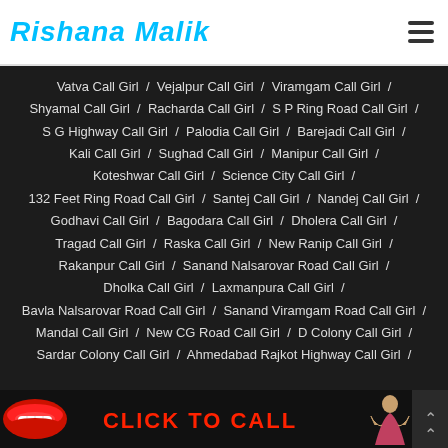Rishana Malik
Vatva Call Girl / Vejalpur Call Girl / Viramgam Call Girl / Shyamal Call Girl / Racharda Call Girl / S P Ring Road Call Girl / S G Highway Call Girl / Palodia Call Girl / Barejadi Call Girl / Kali Call Girl / Sughad Call Girl / Manipur Call Girl / Koteshwar Call Girl / Science City Call Girl / 132 Feet Ring Road Call Girl / Santej Call Girl / Nandej Call Girl / Godhavi Call Girl / Bagodara Call Girl / Dholera Call Girl / Tragad Call Girl / Raska Call Girl / New Ranip Call Girl / Rakanpur Call Girl / Sanand Nalsarovar Road Call Girl / Dholka Call Girl / Laxmanpura Call Girl / Bavla Nalsarovar Road Call Girl / Sanand Viramgam Road Call Girl / Mandal Call Girl / New CG Road Call Girl / D Colony Call Girl / Sardar Colony Call Girl / Ahmedabad Rajkot Highway Call Girl /
[Figure (infographic): Bottom banner with red lips image on left, CLICK TO CALL text in red, and a woman illustration on the right]